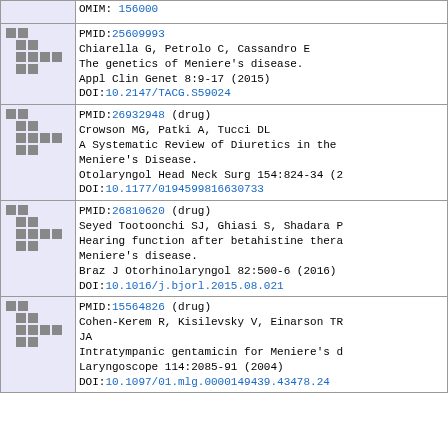| icons | reference |
| --- | --- |
| [icons] | OMIM: 156000 |
| [icons] | PMID:25609993
Chiarella G, Petrolo C, Cassandro E
The genetics of Meniere's disease.
Appl Clin Genet 8:9-17 (2015)
DOI:10.2147/TACG.S59024 |
| [icons] | PMID:26932948 (drug)
Crowson MG, Patki A, Tucci DL
A Systematic Review of Diuretics in the Meniere's Disease.
Otolaryngol Head Neck Surg 154:824-34 (2016)
DOI:10.1177/0194599816630733 |
| [icons] | PMID:26810620 (drug)
Seyed Tootoonchi SJ, Ghiasi S, Shadara P...
Hearing function after betahistine therapy in Meniere's disease.
Braz J Otorhinolaryngol 82:500-6 (2016)
DOI:10.1016/j.bjorl.2015.08.021 |
| [icons] | PMID:15564826 (drug)
Cohen-Kerem R, Kisilevsky V, Einarson TR, JA
Intratympanic gentamicin for Meniere's d...
Laryngoscope 114:2085-91 (2004)
DOI:10.1097/01.mlg.0000149439.43478.24 |